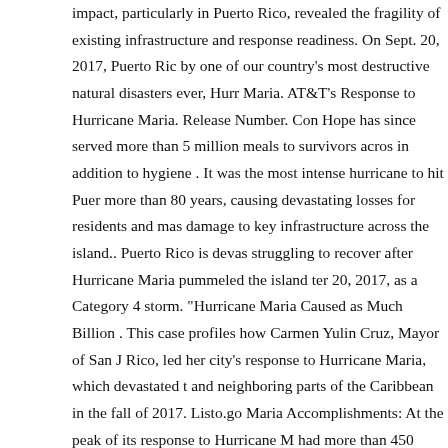impact, particularly in Puerto Rico, revealed the fragility of existing infrastructure and response readiness. On Sept. 20, 2017, Puerto Rico by one of our country's most destructive natural disasters ever, Hurricane Maria. AT&T's Response to Hurricane Maria. Release Number. Community Hope has since served more than 5 million meals to survivors across in addition to hygiene . It was the most intense hurricane to hit Puerto Rico more than 80 years, causing devastating losses for residents and massive damage to key infrastructure across the island.. Puerto Rico is devastated struggling to recover after Hurricane Maria pummeled the island ten 20, 2017, as a Category 4 storm. "Hurricane Maria Caused as Much as $90 Billion . This case profiles how Carmen Yulin Cruz, Mayor of San Juan, Puerto Rico, led her city's response to Hurricane Maria, which devastated the island and neighboring parts of the Caribbean in the fall of 2017. Listo.gov Maria Accomplishments: At the peak of its response to Hurricane Maria, AT&T had more than 450 response personnel focused on emergency work in Puerto Rico and the USVI. HQ-17-146. When Irma combed northeastern Puerto Rico two weeks before Maria's arrival, 70% of clients lost service, and in two days 97% had recovered it. U.S. Coast Guard Videos and Photos. share. The Robert T. Stafford Disaster Relief and Emergency Assistant Act (Stafford S Recovery projects first started in 2018, the Red Cross has worked with numerous partners to deliver solutions . In November 2017, Direct